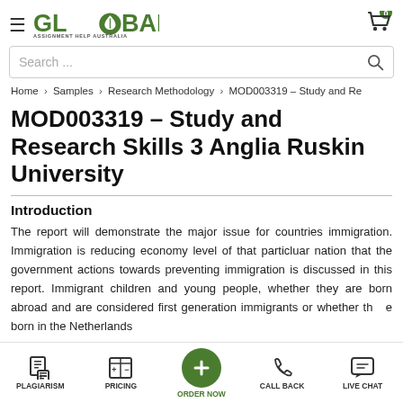[Figure (logo): Global Assignment Help Australia logo with green leaf icon and hamburger menu on left, cart icon on right]
Search ...
Home > Samples > Research Methodology > MOD003319 – Study and Re
MOD003319 – Study and Research Skills 3 Anglia Ruskin University
Introduction
The report will demonstrate the major issue for countries immigration. Immigration is reducing economy level of that particluar nation that the government actions towards preventing immigration is discussed in this report. Immigrant children and young people, whether they are born abroad and are considered first generation immigrants or whether th e born in the Netherlands
PLAGIARISM   PRICING   ORDER NOW   CALL BACK   LIVE CHAT